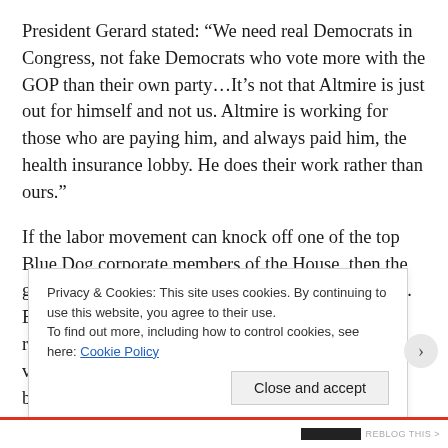President Gerard stated: “We need real Democrats in Congress, not fake Democrats who vote more with the GOP than their own party…It’s not that Altmire is just out for himself and not us. Altmire is working for those who are paying him, and always paid him, the health insurance lobby. He does their work rather than ours.”
If the labor movement can knock off one of the top Blue Dog corporate members of the House, then the ground is shifting and the 1% will be forced to react. Even though Critz is a conservative with a voting record that would make a progressive cringe, his victory in the Democratic primary will alarm the bankers and stimulate a flood of money into 12th D
Privacy & Cookies: This site uses cookies. By continuing to use this website, you agree to their use.
To find out more, including how to control cookies, see here: Cookie Policy
Close and accept